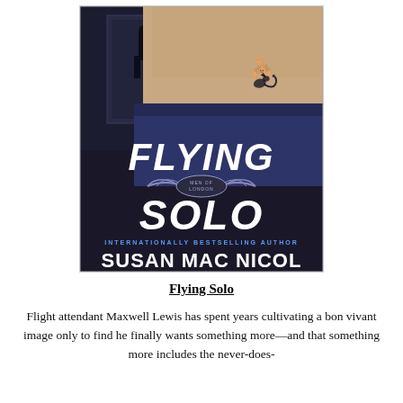[Figure (illustration): Book cover for 'Flying Solo' by Susan Mac Nicol. Shows a muscular torso with a scorpion tattoo on the lower back, wearing dark shorts. In the background a silhouetted figure stands near a window. Large bold white text reads 'FLYING SOLO' with 'MEN OF LONDON' badge in the center. Blue spaced text reads 'INTERNATIONALLY BESTSELLING AUTHOR' and large white serif text at the bottom reads 'SUSAN MAC NICOL'.]
Flying Solo
Flight attendant Maxwell Lewis has spent years cultivating a bon vivant image only to find he finally wants something more—and that something more includes the never-does-